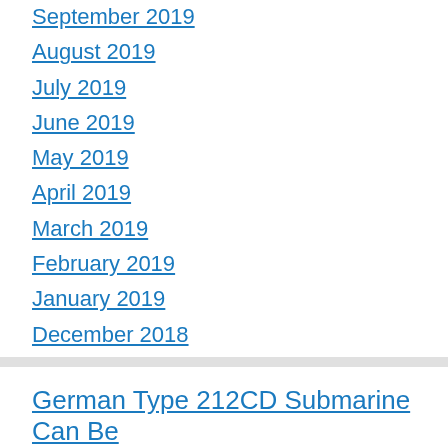September 2019
August 2019
July 2019
June 2019
May 2019
April 2019
March 2019
February 2019
January 2019
December 2018
German Type 212CD Submarine Can Be Included For Indian Navy Project 75I …